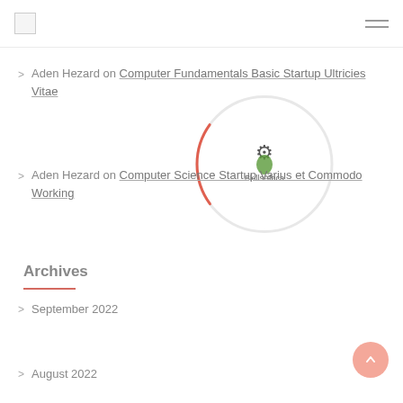SkillsAfrica
Aden Hezard on Computer Fundamentals Basic Startup Ultricies Vitae
Aden Hezard on Computer Science Startup Varius et Commodo Working
Archives
September 2022
August 2022
[Figure (other): Loading spinner circle with SkillsAfrica logo watermark in center, red/coral arc at bottom right of circle]